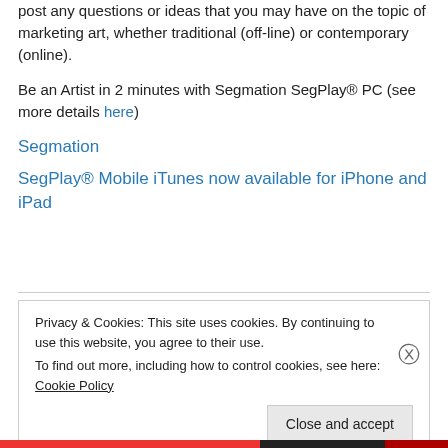post any questions or ideas that you may have on the topic of marketing art, whether traditional (off-line) or contemporary (online).
Be an Artist in 2 minutes with Segmation SegPlay® PC (see more details here)
Segmation
SegPlay® Mobile iTunes now available for iPhone and iPad
Privacy & Cookies: This site uses cookies. By continuing to use this website, you agree to their use.
To find out more, including how to control cookies, see here: Cookie Policy
Close and accept